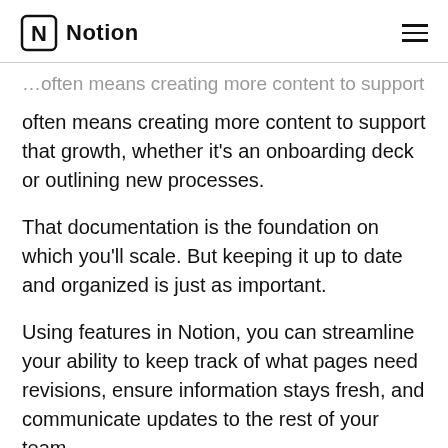Notion
often means creating more content to support that growth, whether it's an onboarding deck or outlining new processes.
That documentation is the foundation on which you'll scale. But keeping it up to date and organized is just as important.
Using features in Notion, you can streamline your ability to keep track of what pages need revisions, ensure information stays fresh, and communicate updates to the rest of your team.